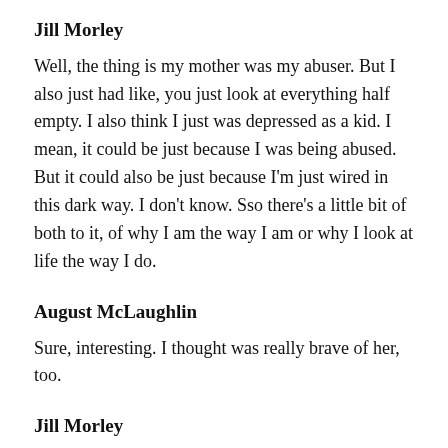Jill Morley
Well, the thing is my mother was my abuser. But I also just had like, you just look at everything half empty. I also think I just was depressed as a kid. I mean, it could be just because I was being abused. But it could also be just because I'm just wired in this dark way. I don't know. Sso there's a little bit of both to it, of why I am the way I am or why I look at life the way I do.
August McLaughlin
Sure, interesting. I thought was really brave of her, too.
Jill Morley
It was very brave of her and I'm very grateful to her for